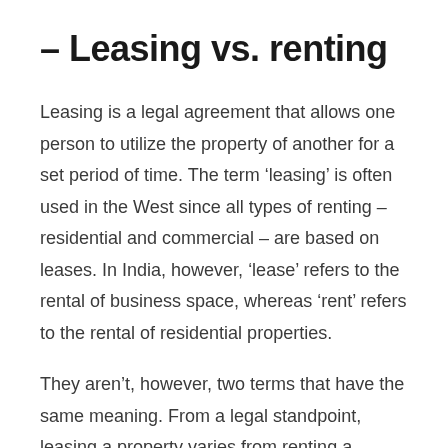– Leasing vs. renting
Leasing is a legal agreement that allows one person to utilize the property of another for a set period of time. The term 'leasing' is often used in the West since all types of renting – residential and commercial – are based on leases. In India, however, 'lease' refers to the rental of business space, whereas 'rent' refers to the rental of residential properties.
They aren't, however, two terms that have the same meaning. From a legal standpoint, leasing a property varies from renting a property under a leave and license